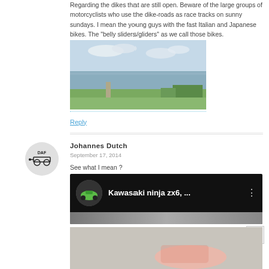Regarding the dikes that are still open. Beware of the large groups of motorcyclists who use the dike-roads as race tracks on sunny sundays. I mean the young guys with the fast Italian and Japanese bikes. The "belly sliders/gliders" as we call those bikes.
[Figure (photo): Aerial photo of a dike road along a wide river with green countryside]
Reply
Johannes Dutch
September 17, 2014
See what I mean ?
[Figure (screenshot): YouTube video thumbnail showing Kawasaki ninja zx6 video with green motorcycle icon and dark background]